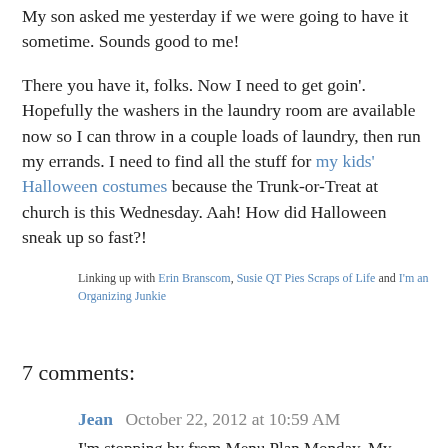My son asked me yesterday if we were going to have it sometime. Sounds good to me!
There you have it, folks. Now I need to get goin'. Hopefully the washers in the laundry room are available now so I can throw in a couple loads of laundry, then run my errands. I need to find all the stuff for my kids' Halloween costumes because the Trunk-or-Treat at church is this Wednesday. Aah! How did Halloween sneak up so fast?!
Linking up with Erin Branscom, Susie QT Pies Scraps of Life and I'm an Organizing Junkie
7 comments:
Jean  October 22, 2012 at 10:59 AM
I'm stopping by from Menu Plan Monday. My husband has to be so excited that the store has to once we all Halloween did